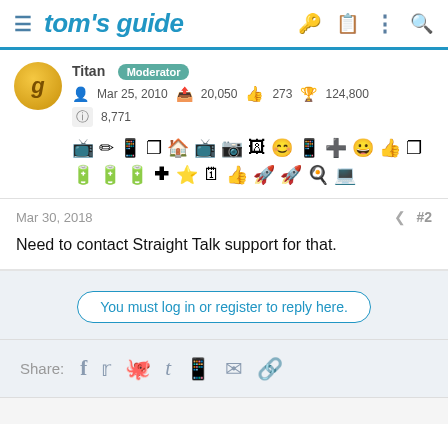tom's guide
Titan Moderator
Mar 25, 2010  20,050  273  124,800
8,771
[Figure (infographic): Row of small black technology/device icons including TV, pen, tablet, Windows logo, camera, monitor, smiley face, phone, message box, emoji, thumbs up, Windows tiles, and more in two rows]
Mar 30, 2018    #2
Need to contact Straight Talk support for that.
You must log in or register to reply here.
Share: